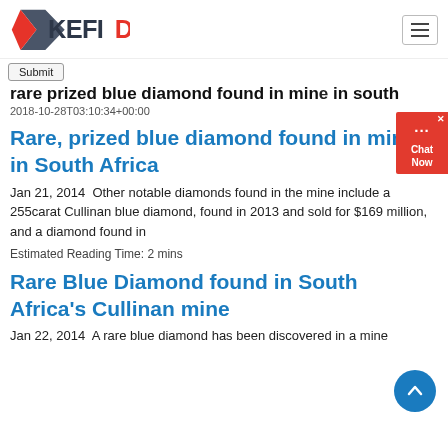KEFID
rare prized blue diamond found in mine in south
2018-10-28T03:10:34+00:00
Rare, prized blue diamond found in mine in South Africa
Jan 21, 2014  Other notable diamonds found in the mine include a 255carat Cullinan blue diamond, found in 2013 and sold for $169 million, and a diamond found in
Estimated Reading Time: 2 mins
Rare Blue Diamond found in South Africa's Cullinan mine
Jan 22, 2014  A rare blue diamond has been discovered in a mine